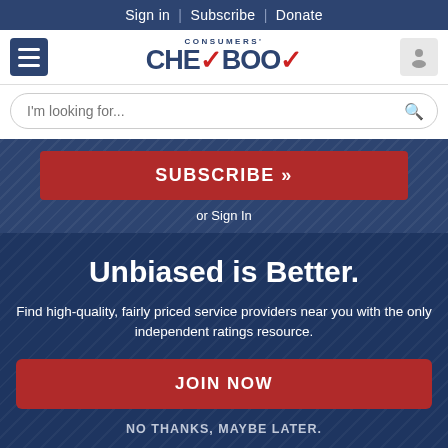Sign in | Subscribe | Donate
[Figure (logo): Consumers' Checkbook logo with red checkmark and hamburger menu icon]
I'm looking for...
SUBSCRIBE »
or Sign In
Unbiased is Better.
Find high-quality, fairly priced service providers near you with the only independent ratings resource.
JOIN NOW
NO THANKS, MAYBE LATER.